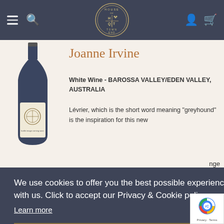House of Townend — Navigation header with hamburger menu, search icon, logo, user icon, basket icon
Joanne Irvine
White Wine - BAROSSA VALLEY/EDEN VALLEY, AUSTRALIA
Lévrier, which is the short word meaning "greyhound" is the inspiration for this new
We use cookies to offer you the best possible experience when shopping with us. Click to accept our Privacy & Cookie policy.
Learn more
Accept